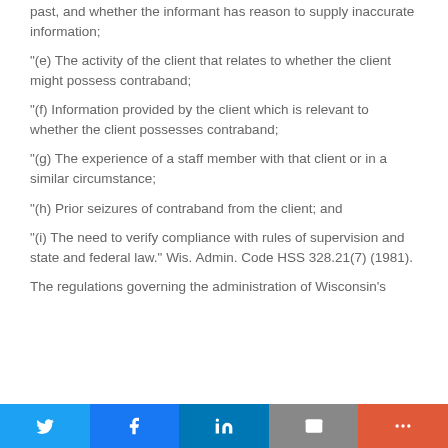past, and whether the informant has reason to supply inaccurate information;
"(e) The activity of the client that relates to whether the client might possess contraband;
"(f) Information provided by the client which is relevant to whether the client possesses contraband;
"(g) The experience of a staff member with that client or in a similar circumstance;
"(h) Prior seizures of contraband from the client; and
"(i) The need to verify compliance with rules of supervision and state and federal law." Wis. Admin. Code HSS 328.21(7) (1981).
The regulations governing the administration of Wisconsin's
Twitter | Facebook | LinkedIn | Email | More